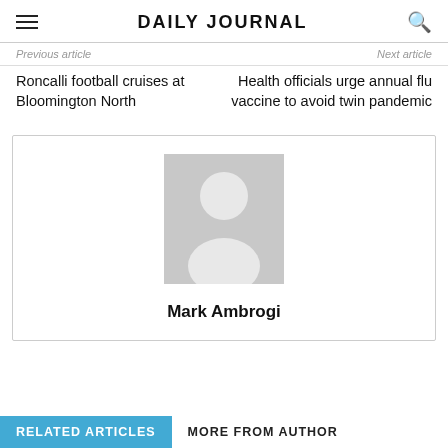DAILY JOURNAL
Previous article
Next article
Roncalli football cruises at Bloomington North
Health officials urge annual flu vaccine to avoid twin pandemic
[Figure (illustration): Default author avatar placeholder image showing a generic silhouette of a person on a gray background]
Mark Ambrogi
RELATED ARTICLES
MORE FROM AUTHOR